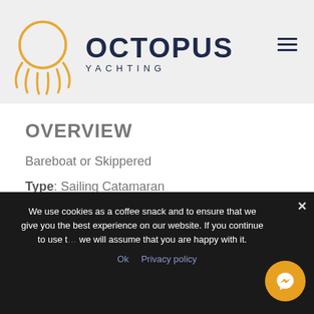[Figure (logo): Octopus Yachting logo with octopus illustration in orange/gold and OCTOPUS YACHTING text in dark navy]
OVERVIEW
Bareboat or Skippered
Type: Sailing Catamaran
Year of Built: 2017
Cabins: 4 double-bed plus 2 single-bed
We use cookies as a coffee snack and to ensure that we give you the best experience on our website. If you continue to use this site we will assume that you are happy with it.
Ok  Privacy policy